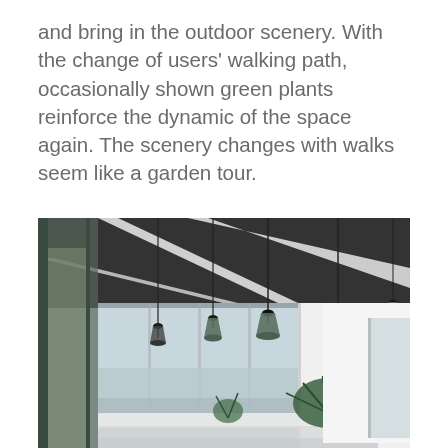and bring in the outdoor scenery. With the change of users' walking path, occasionally shown green plants reinforce the dynamic of the space again. The scenery changes with walks seem like a garden tour.
[Figure (photo): Interior architectural photo showing a modern open-plan space with a dark perforated metal ceiling, white structural beams, floor-to-ceiling glass walls revealing outdoor scenery, pendant lights hanging from the ceiling, and green tropical plants on a white table or surface in the foreground.]